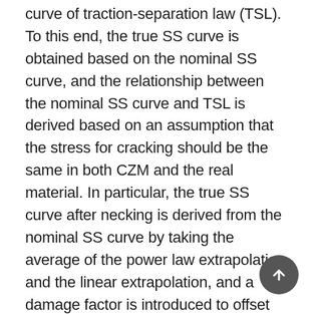curve of traction-separation law (TSL). To this end, the true SS curve is obtained based on the nominal SS curve, and the relationship between the nominal SS curve and TSL is derived based on an assumption that the stress for cracking should be the same in both CZM and the real material. In particular, the true SS curve after necking is derived from the nominal SS curve by taking the average of the power law extrapolation and the linear extrapolation, and a damage factor is introduced to offset the true stress reduction caused by the voids generated at the necking zone. The maximum traction of the TSL is equal to the maximum true stress calculated based on the damage factor at the end of hardening. In addition, a simple specimen is simulated by Abaqus/Standard to calculate the critical J-integral, and the fracture energy calculated by the critical J-integral represents the stored strain energy in the necking zone calculated by the true SS curve.